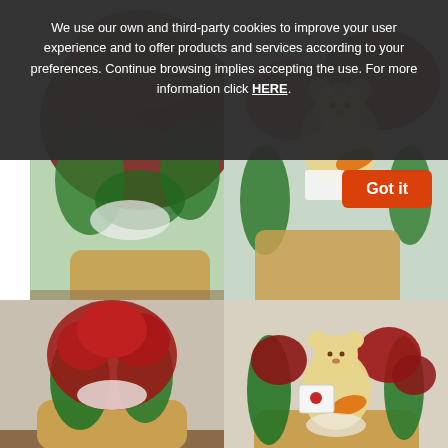We use our own and third-party cookies to improve your user experience and to offer products and services according to your preferences. Continue browsing implies accepting the use. For more information click HERE.
Got it
[Figure (photo): Basket of 24 red roses with greenery and baby's breath, on a wooden surface with scattered petals]
Basket of 24 Roses
6€  73.90 €
Fantastic basket of 24 selected roses and greens, luxury and glamorous gift with home delivery in Villalba de Perejil
[Figure (photo): Special Happy Baby arrangement with 6 red roses, teddy bear, chocolates and orange ribbon in a basket]
Special Happy Baby
6€  42.90 €
Center with 6 roses, chocolates and a teddy bear, the funniest gift for someone very special near you in Villalba de Perejil